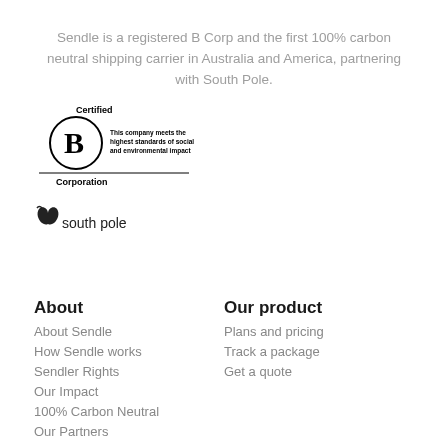Sendle is a registered B Corp and the first 100% carbon neutral shipping carrier in Australia and America, partnering with South Pole.
[Figure (logo): Certified B Corporation logo with text: This company meets the highest standards of social and environmental impact]
[Figure (logo): South Pole logo with text 'south pole']
About
About Sendle
How Sendle works
Sendler Rights
Our Impact
100% Carbon Neutral
Our Partners
Our product
Plans and pricing
Track a package
Get a quote